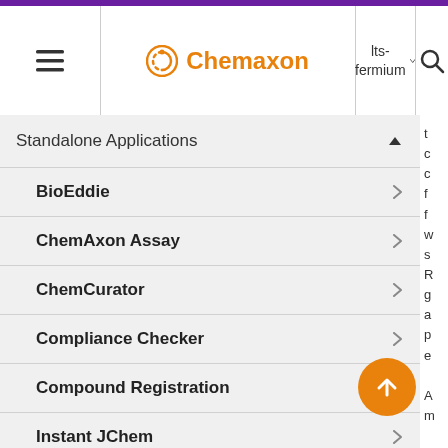Chemaxon | lts-fermium
Standalone Applications
BioEddie
ChemAxon Assay
ChemCurator
Compliance Checker
Compound Registration
Instant JChem
Markush Editor
Design Hub